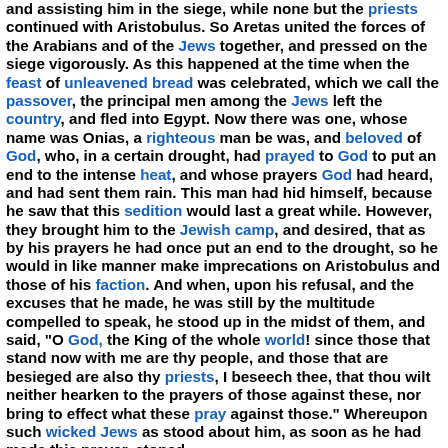and assisting him in the siege, while none but the priests continued with Aristobulus. So Aretas united the forces of the Arabians and of the Jews together, and pressed on the siege vigorously. As this happened at the time when the feast of unleavened bread was celebrated, which we call the passover, the principal men among the Jews left the country, and fled into Egypt. Now there was one, whose name was Onias, a righteous man be was, and beloved of God, who, in a certain drought, had prayed to God to put an end to the intense heat, and whose prayers God had heard, and had sent them rain. This man had hid himself, because he saw that this sedition would last a great while. However, they brought him to the Jewish camp, and desired, that as by his prayers he had once put an end to the drought, so he would in like manner make imprecations on Aristobulus and those of his faction. And when, upon his refusal, and the excuses that he made, he was still by the multitude compelled to speak, he stood up in the midst of them, and said, "O God, the King of the whole world! since those that stand now with me are thy people, and those that are besieged are also thy priests, I beseech thee, that thou wilt neither hearken to the prayers of those against these, nor bring to effect what these pray against those." Whereupon such wicked Jews as stood about him, as soon as he had made this prayer, stoned